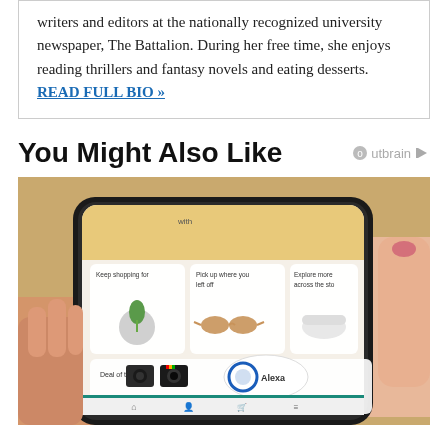writers and editors at the nationally recognized university newspaper, The Battalion. During her free time, she enjoys reading thrillers and fantasy novels and eating desserts. READ FULL BIO »
You Might Also Like
[Figure (photo): Hand holding a smartphone displaying an Amazon shopping app with sections: Keep shopping for (plant in glass orb), Pick up where you left off (sunglasses), Explore more across the store (white sneakers), Deal of the Day (cameras), and Alexa button visible.]